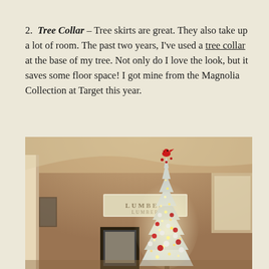2. Tree Collar – Tree skirts are great. They also take up a lot of room. The past two years, I've used a tree collar at the base of my tree. Not only do I love the look, but it saves some floor space! I got mine from the Magnolia Collection at Target this year.
[Figure (photo): Indoor photo of a decorated white/silver flocked Christmas tree with red ornaments and a red cardinal bird topper, glowing with warm lights. A vintage 'LUMBER' sign hangs on the wall behind the tree, and a framed black-and-white photograph is visible at the bottom. The room has warm tan/beige walls.]